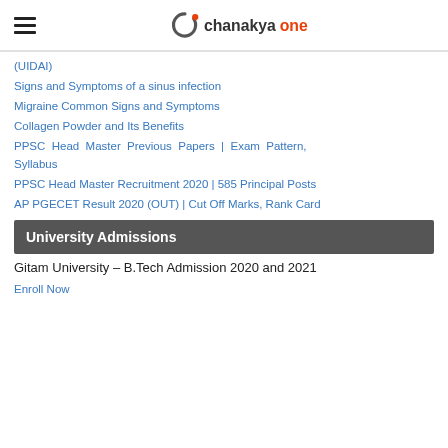chanakyaone
(UIDAI)
Signs and Symptoms of a sinus infection
Migraine Common Signs and Symptoms
Collagen Powder and Its Benefits
PPSC Head Master Previous Papers | Exam Pattern, Syllabus
PPSC Head Master Recruitment 2020 | 585 Principal Posts
AP PGECET Result 2020 (OUT) | Cut Off Marks, Rank Card
University Admissions
Gitam University – B.Tech Admission 2020 and 2021
Enroll Now